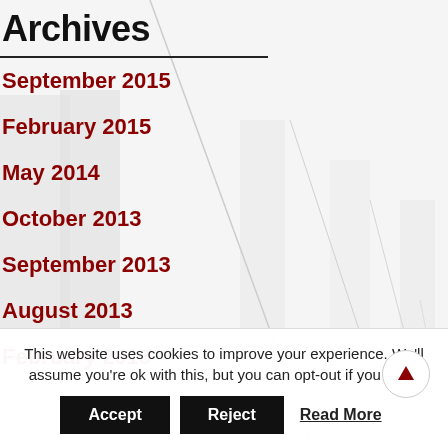Archives
September 2015
February 2015
May 2014
October 2013
September 2013
August 2013
February 2013
This website uses cookies to improve your experience. We'll assume you're ok with this, but you can opt-out if you wish.
Accept   Reject   Read More